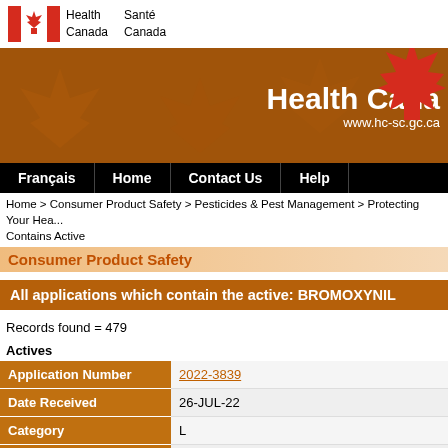Health Canada / Santé Canada
[Figure (logo): Health Canada logo with Canadian flag (red maple leaf on white/red background) and text 'Health Canada Santé Canada']
[Figure (illustration): Health Canada orange banner with maple leaf watermarks and large red maple leaf graphic, text 'Health Cana...' and 'www.hc-sc.gc.ca']
Français | Home | Contact Us | Help
Home > Consumer Product Safety > Pesticides & Pest Management > Protecting Your Hea... Contains Active
Consumer Product Safety
All applications which contain the active: BROMOXYNIL
Records found = 479
Actives
| Field | Value |
| --- | --- |
| Application Number | 2022-3839 |
| Date Received | 26-JUL-22 |
| Category | L |
| Purpose | Amendment |
| Active Ingredient | BROMOXYNIL |